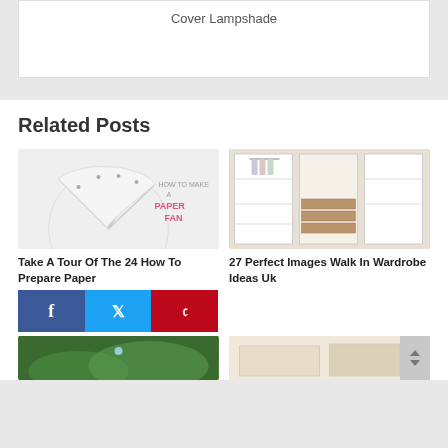Cover Lampshade
Related Posts
[Figure (photo): How to make a paper fan craft image with decorative paper fan and text overlay]
[Figure (photo): Walk-in wardrobe with white shelving units and wooden drawers]
Take A Tour Of The 24 How To Prepare Paper
27 Perfect Images Walk In Wardrobe Ideas Uk
[Figure (photo): Aerial/landscape photo]
[Figure (photo): Interior room photo]